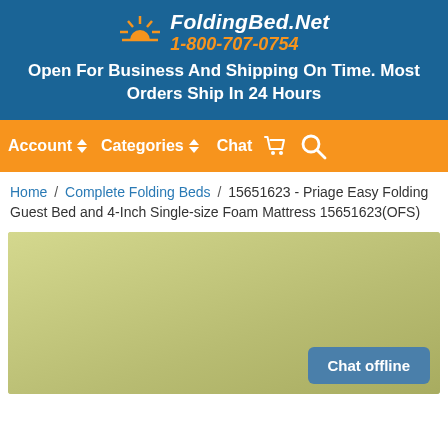FoldingBed.Net 1-800-707-0754
Open For Business And Shipping On Time. Most Orders Ship In 24 Hours
Account  Categories  Chat
Home / Complete Folding Beds / 15651623 - Priage Easy Folding Guest Bed and 4-Inch Single-size Foam Mattress 15651623(OFS)
[Figure (photo): Product image area with tan/olive colored background and a Chat offline button in the lower right corner]